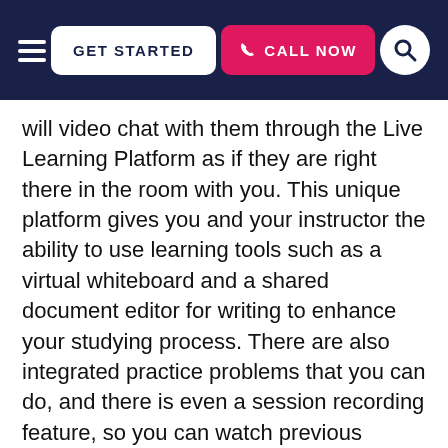GET STARTED | CALL NOW
will video chat with them through the Live Learning Platform as if they are right there in the room with you. This unique platform gives you and your instructor the ability to use learning tools such as a virtual whiteboard and a shared document editor for writing to enhance your studying process. There are also integrated practice problems that you can do, and there is even a session recording feature, so you can watch previous sessions and further review concepts and techniques.
The convenience of Nashville biology tutoring doesn't stop there. When you participate in online instruction, you get to work with your tutor from a location that is convenient for you. You can work from almost anywhere that has a reliable internet connection, whether it is your favorite café, your own home, or a